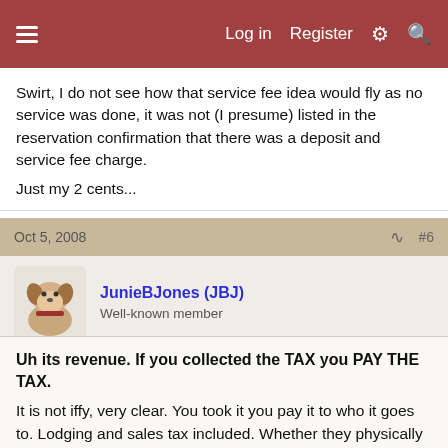Log in  Register
Swirt, I do not see how that service fee idea would fly as no service was done, it was not (I presume) listed in the reservation confirmation that there was a deposit and service fee charge.
Just my 2 cents...
Oct 5, 2008  #6
JunieBJones (JBJ)
Well-known member
Uh its revenue. If you collected the TAX you PAY THE TAX.
It is not iffy, very clear. You took it you pay it to who it goes to. Lodging and sales tax included. Whether they physically messed up your bed or not, they have paid for the room AND NOT SHOWN accordingly. Meals tax, same same.